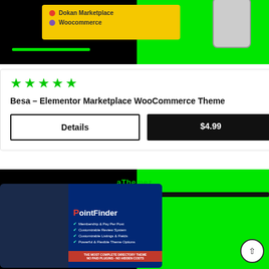[Figure (screenshot): Product card image for Besa Elementor Marketplace WooCommerce Theme: black background with green right section, yellow banner showing Dokan Marketplace and WooCommerce logos, phone mockup on right, green highlight line at bottom left.]
★★★★★
Besa – Elementor Marketplace WooCommerce Theme
Details
$4.99
[Figure (screenshot): Product card image for PointFinder theme by aThemez: black background with green right section, tablet mockup showing PointFinder directory theme with features: Membership & Pay Per Post, Customizable Review System, Customizable Listings & Fields, Powerful & Flexible Theme Options, red bar: THE MOST COMPLETE DIRECTORY THEME NO PAID PLUGINS - NO HIDDEN COSTS.]